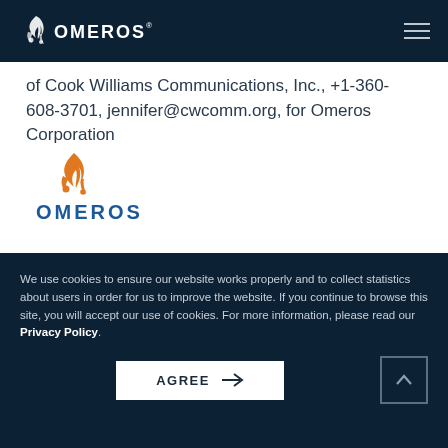Omeros Corporation
of Cook Williams Communications, Inc., +1-360-608-3701, jennifer@cwcomm.org, for Omeros Corporation
[Figure (logo): Omeros Corporation color logo with orange flame/DNA icon and blue OMEROS wordmark]
We use cookies to ensure our website works properly and to collect statistics about users in order for us to improve the website. If you continue to browse this site, you will accept our use of cookies. For more information, please read our Privacy Policy.
AGREE →